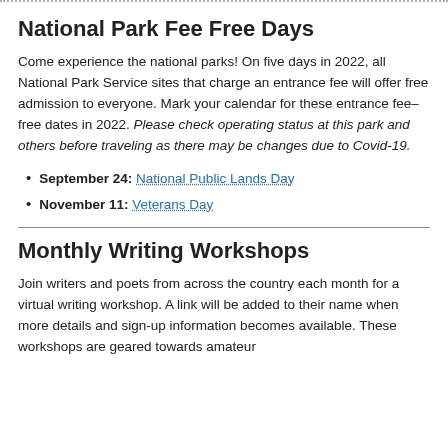National Park Fee Free Days
Come experience the national parks! On five days in 2022, all National Park Service sites that charge an entrance fee will offer free admission to everyone. Mark your calendar for these entrance fee–free dates in 2022. Please check operating status at this park and others before traveling as there may be changes due to Covid-19.
September 24: National Public Lands Day
November 11: Veterans Day
Monthly Writing Workshops
Join writers and poets from across the country each month for a virtual writing workshop. A link will be added to their name when more details and sign-up information becomes available. These workshops are geared towards amateur